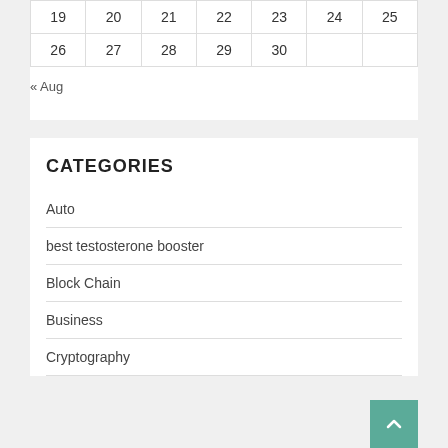| 19 | 20 | 21 | 22 | 23 | 24 | 25 |
| 26 | 27 | 28 | 29 | 30 |  |  |
« Aug
CATEGORIES
Auto
best testosterone booster
Block Chain
Business
Cryptography